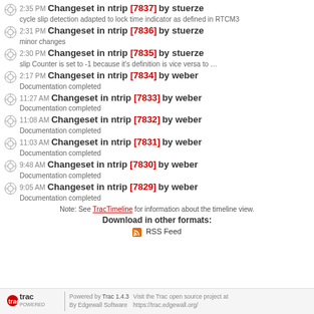2:35 PM Changeset in ntrip [7837] by stuerze — cycle slip detection adapted to lock time indicator as defined in RTCM3
2:31 PM Changeset in ntrip [7836] by stuerze — minor changes
2:30 PM Changeset in ntrip [7835] by stuerze — slip Counter is set to -1 because it's definition is vice versa to …
2:17 PM Changeset in ntrip [7834] by weber — Documentation completed
11:27 AM Changeset in ntrip [7833] by weber — Documentation completed
11:08 AM Changeset in ntrip [7832] by weber — Documentation completed
11:03 AM Changeset in ntrip [7831] by weber — Documentation completed
9:48 AM Changeset in ntrip [7830] by weber — Documentation completed
9:05 AM Changeset in ntrip [7829] by weber — Documentation completed
Note: See TracTimeline for information about the timeline view.
Download in other formats:
RSS Feed
Powered by Trac 1.4.3 By Edgewall Software | Visit the Trac open source project at https://trac.edgewall.org/